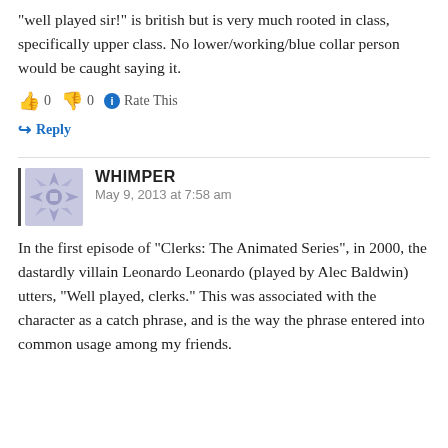“well played sir!” is british but is very much rooted in class, specifically upper class. No lower/working/blue collar person would be caught saying it.
👍 0 👎 0 ⓘ Rate This
↪ Reply
WHIMPER
May 9, 2013 at 7:58 am
In the first episode of “Clerks: The Animated Series”, in 2000, the dastardly villain Leonardo Leonardo (played by Alec Baldwin) utters, “Well played, clerks.” This was associated with the character as a catch phrase, and is the way the phrase entered into common usage among my friends.